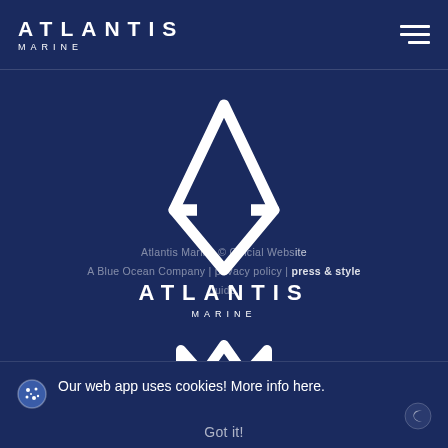ATLANTIS MARINE
[Figure (logo): Atlantis Marine central logo with diamond/triangle geometric mark above text 'ATLANTIS MARINE' and inverted mountain/M mark below]
Atlantis Marine © Official Website
A Blue Ocean Company | privacy policy | press & style guide.
Our web app uses cookies! More info here.
Got it!